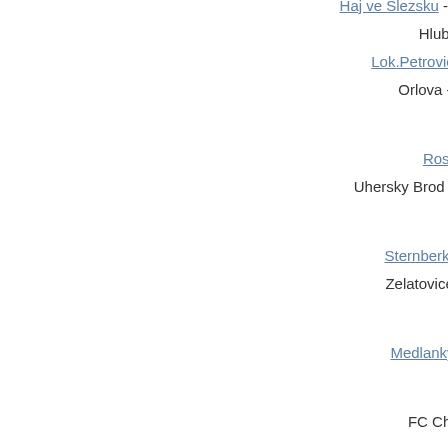16:30   Haj ve Slezsku - Petrvald na
16:30   Hlubina - Fulnek
16:30   Lok.Petrovice - Pusta P
16:30   Orlova - Cesky Tesi
Czech Republic , Msfl
16:30   Rosice - Unicov
16:30   Uhersky Brod - Sigma Olo
Czech Republic , Olomoucky Kp
16:30   Sternberk - Velke Los
16:30   Zelatovice - Mohelnie
Czech Republic , Op Ii Tridy Bm
16:30   Medlanky B - Turany
Czech Republic , Op Ii Tridy Ch
16:30   FC Cheb B - Luby
Czech Republic , Op Ii Tridy Fm Group A
16:30   Chlebovice - Vojkovi